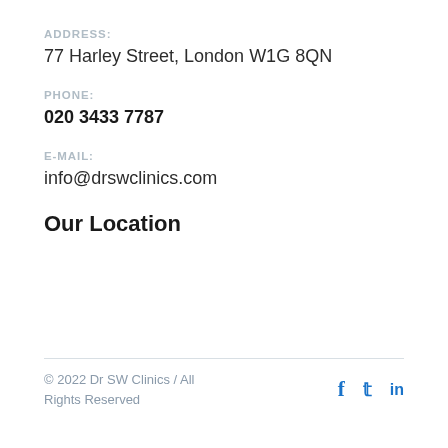ADDRESS:
77 Harley Street, London W1G 8QN
PHONE:
020 3433 7787
E-MAIL:
info@drswclinics.com
Our Location
© 2022 Dr SW Clinics / All Rights Reserved